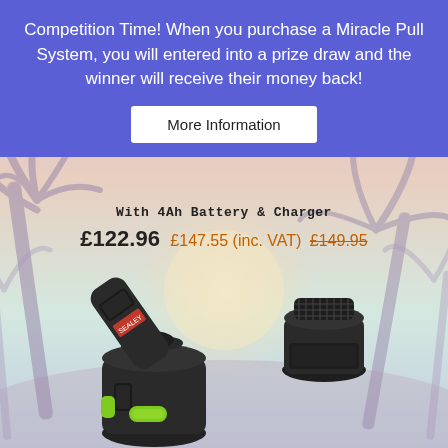Competition Time! When you purchase a Miracle Pull System, you will entered into a prize draw and the winner will receive their money back!
More Information
With 4Ah Battery & Charger
£122.96 £147.55 (inc. VAT) £149.95
[Figure (photo): Product photo of two Sealey cordless tool units (likely dent pullers / repair tools) with green accent buttons, shown against a tropical palm tree sunset background illustration]